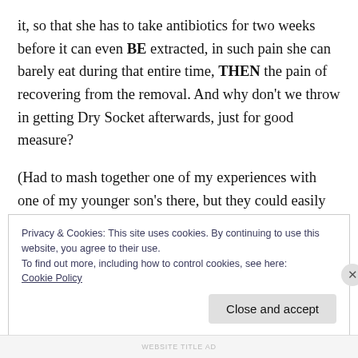it, so that she has to take antibiotics for two weeks before it can even BE extracted, in such pain she can barely eat during that entire time, THEN the pain of recovering from the removal. And why don't we throw in getting Dry Socket afterwards, just for good measure?
(Had to mash together one of my experiences with one of my younger son's there, but they could easily happen together)
Privacy & Cookies: This site uses cookies. By continuing to use this website, you agree to their use.
To find out more, including how to control cookies, see here:
Cookie Policy
WEBSITE TITLE AD